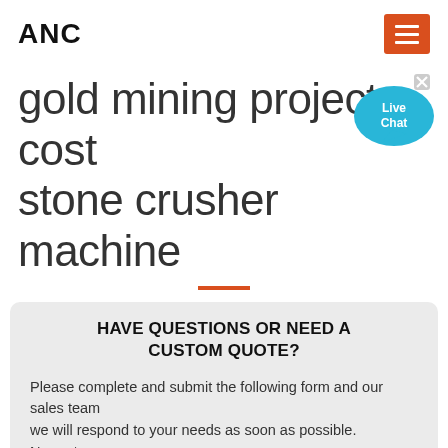ANC
gold mining project cost stone crusher machine
[Figure (illustration): Live Chat speech bubble icon with 'Live Chat' text in blue and an X close button]
HAVE QUESTIONS OR NEED A CUSTOM QUOTE?
Please complete and submit the following form and our sales team
we will respond to your needs as soon as possible.
Name:*
Such as: Tom